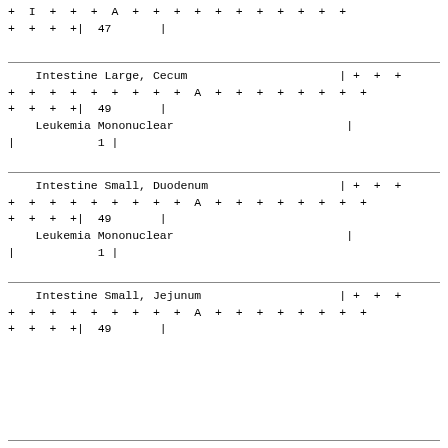+ I + + + A + + + + + + + + + + +
+ + + +| 47       |
| Intestine Large, Cecum | | + + + |
| + + + + + + + + + A + + + + + + + + |  |
| + + + +| 49       | |  |
| Leukemia Mononuclear | | |
| |        1 | |  |
| Intestine Small, Duodenum | | + + + |
| + + + + + + + + + A + + + + + + + + |  |
| + + + +| 49       | |  |
| Leukemia Mononuclear | | |
| |        1 | |  |
| Intestine Small, Jejunum | | + + + |
| + + + + + + + + + A + + + + + + + + |  |
| + + + +| 49       | |  |